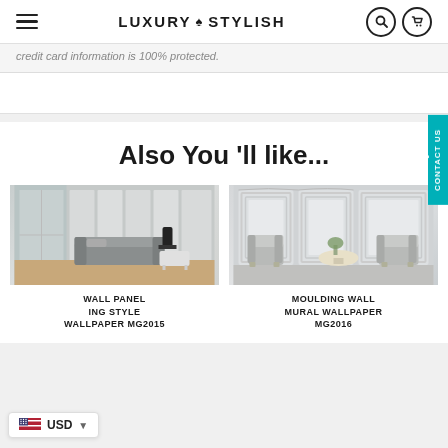LUXURY ♠ STYLISH
credit card information is 100% protected.
Also You 'll like...
[Figure (photo): Interior room with white wall panels, grey sofa, and wooden floor]
[Figure (photo): Interior room with white moulding wall, grey chairs and small table]
WALL PANEL ING STYLE WALLPAPER MG2015
MOULDING WALL MURAL WALLPAPER MG2016